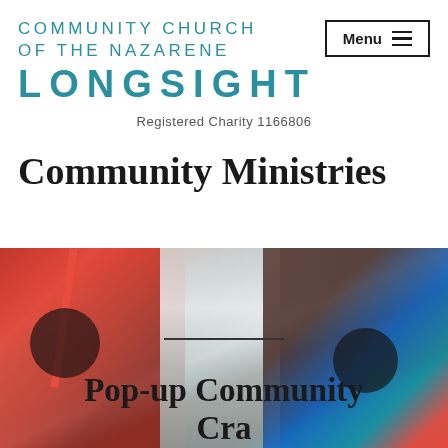COMMUNITY CHURCH OF THE NAZARENE LONGSIGHT
Registered Charity 1166806
Community Ministries
[Figure (photo): Photo of craft supplies on a table including red bags, straws, art materials, a white cylindrical container, and painted birdhouses with circular holes]
Pop-up Community Craft